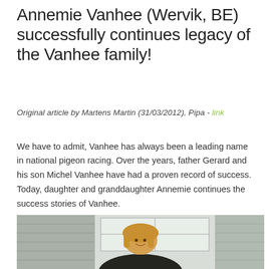Annemie Vanhee (Wervik, BE) successfully continues legacy of the Vanhee family!
Original article by Martens Martin (31/03/2012), Pipa - link
We have to admit, Vanhee has always been a leading name in national pigeon racing. Over the years, father Gerard and his son Michel Vanhee have had a proven record of success. Today, daughter and granddaughter Annemie continues the success stories of Vanhee.
[Figure (photo): Photo of Annemie Vanhee, a woman with blonde hair wearing a dark jacket, smiling in front of what appears to be a pigeon loft or cage structure.]